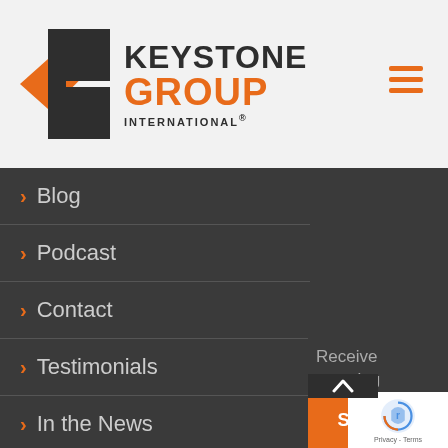[Figure (logo): Keystone Group International logo with orange and dark gray geometric K icon, KEYSTONE in dark gray, GROUP in orange, INTERNATIONAL® below]
> Blog
> Podcast
> Contact
> Testimonials
> In the News
Receive amazing business insights, leadership tips, and new Superpower Success Podcast episodes - direct to your inbox.
SIGN UP